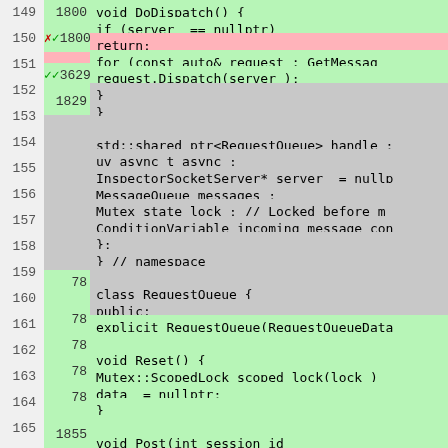[Figure (screenshot): Code coverage view showing C++ source code lines 149-175, with line numbers on the left, coverage hit counts in the middle column (gray background), and code content on the right. Lines covered are highlighted green, uncovered lines are highlighted pink/red, and some lines have no coverage data shown in white/light background.]